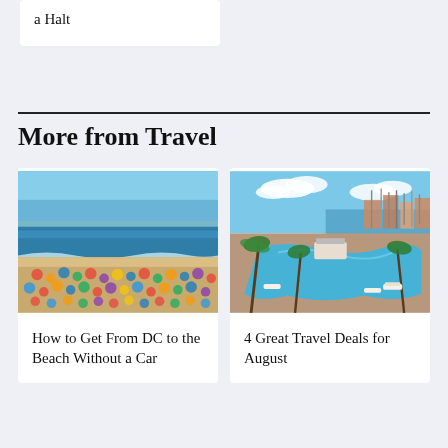a Halt
More from Travel
[Figure (photo): Crowded beach with colorful umbrellas and people, ocean waves in background, aerial view]
How to Get From DC to the Beach Without a Car
[Figure (photo): Aerial view of a resort with a blue swimming pool, palm trees, and a marina with boats in the background]
4 Great Travel Deals for August